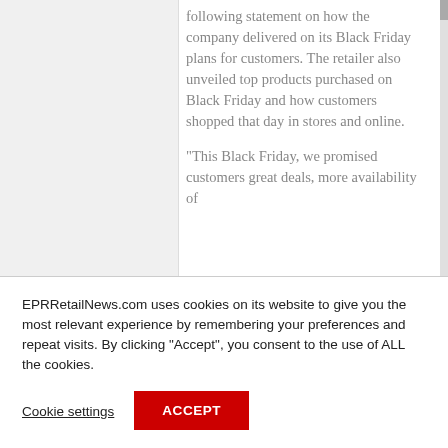following statement on how the company delivered on its Black Friday plans for customers. The retailer also unveiled top products purchased on Black Friday and how customers shopped that day in stores and online.
“This Black Friday, we promised customers great deals, more availability of
EPRRetailNews.com uses cookies on its website to give you the most relevant experience by remembering your preferences and repeat visits. By clicking “Accept”, you consent to the use of ALL the cookies.
Cookie settings
ACCEPT